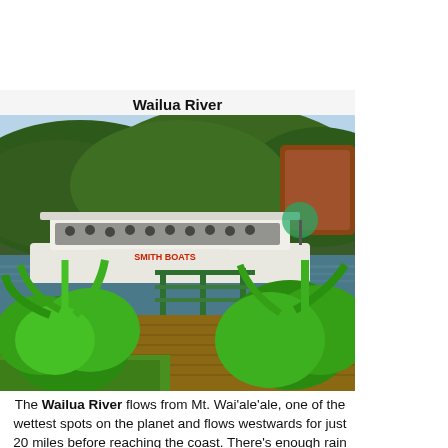Wailua River
[Figure (photo): A large flat-bottomed tour boat labeled 'SMITH BOATS' moored along a wooden dock on the Wailua River, surrounded by lush tropical green vegetation and trees on hillsides, with tropical plants in the foreground and a green railing along the dock.]
The Wailua River flows from Mt. Wai'ale'ale, one of the wettest spots on the planet and flows westwards for just 20 miles before reaching the coast. There's enough rain to make the river the only navigable river in Hawaii. Boat trips upstream